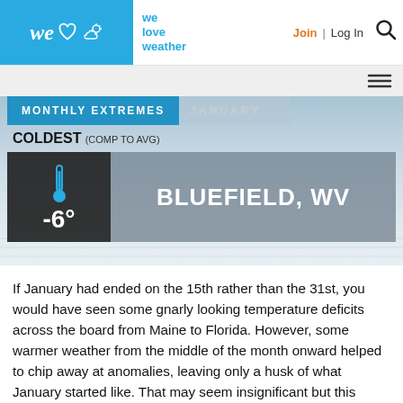we love weather | Join | Log In
[Figure (infographic): Monthly Extremes - January. Coldest (comp to avg): Bluefield, WV at -6 degrees. Frosty background with thermometer icon.]
If January had ended on the 15th rather than the 31st, you would have seen some gnarly looking temperature deficits across the board from Maine to Florida. However, some warmer weather from the middle of the month onward helped to chip away at anomalies, leaving only a husk of what January started like. That may seem insignificant but this